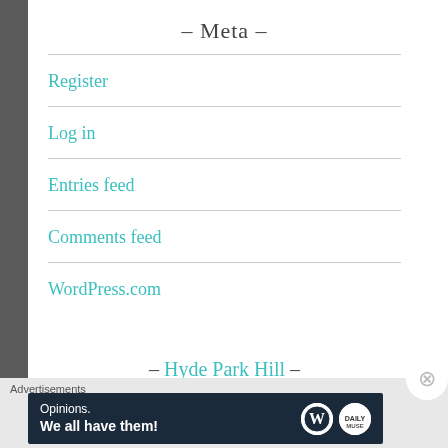– Meta –
Register
Log in
Entries feed
Comments feed
WordPress.com
– Hyde Park Hill –
Advertisements
[Figure (screenshot): Advertisement banner: dark navy background with text 'Opinions. We all have them!' and WordPress logo icons on the right.]